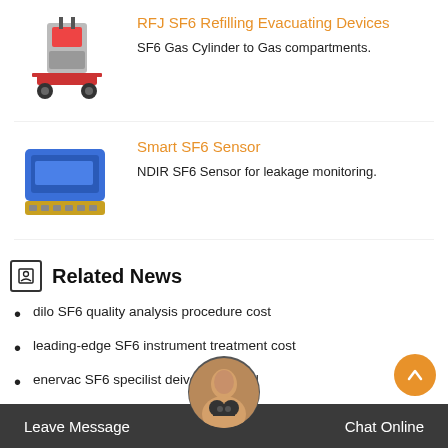[Figure (photo): RFJ SF6 refilling evacuating device on wheels, industrial red and grey equipment]
RFJ SF6 Refilling Evacuating Devices
SF6 Gas Cylinder to Gas compartments.
[Figure (photo): Smart SF6 Sensor - blue rectangular device with green connector base]
Smart SF6 Sensor
NDIR SF6 Sensor for leakage monitoring.
Related News
dilo SF6 quality analysis procedure cost
leading-edge SF6 instrument treatment cost
enervac SF6 specilist deivces manual
b143r11 SF6 switchgear maintenance manufacturers
certified SF6 connector company price
Leave Message   Chat Online